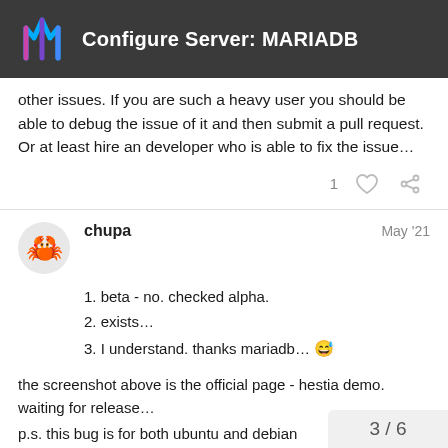Configure Server: MARIADB
other issues. If you are such a heavy user you should be able to debug the issue of it and then submit a pull request. Or at least hire an developer who is able to fix the issue…
chupa  May '21
1. beta - no. checked alpha.
2. exists…
3. I understand. thanks mariadb… 😅
the screenshot above is the official page - hestia demo. waiting for release…
p.s. this bug is for both ubuntu and debian
3 / 6